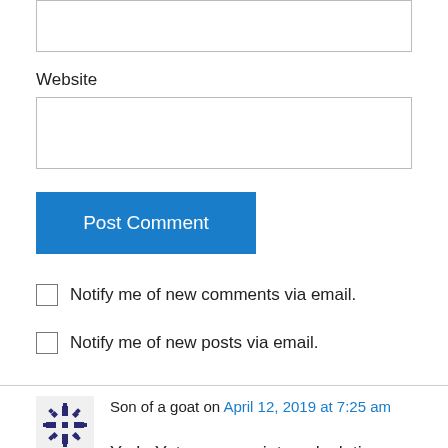[Figure (other): Input text box (partial, top of page)]
Website
[Figure (other): Website input text box]
Post Comment
Notify me of new comments via email.
Notify me of new posts via email.
Son of a goat on April 12, 2019 at 7:25 am
Yoda Yates moves into calculations for the seat of Kooyong with an impressive performance at the Kooyong candidates forum and is now rated